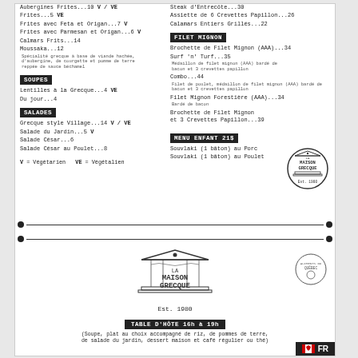Aubergines Frites...10 V / VE
Frites...5 VE
Frites avec Feta et Origan...7 V
Frites avec Parmesan et Origan...6 V
Calmars Frits...14
Moussaka...12
Spécialité grecque à base de viande hachée, d'aubergine, de courgette et pomme de terre reppée de sauce béchamel
SOUPES
Lentilles à la Grecque...4 VE
Du jour...4
SALADES
Grecque style Village...14 V / VE
Salade du Jardin...5 V
Salade César...6
Salade César au Poulet...8
V = Végétarien   VE = Végétalien
Steak d'Entrecôte...30
Assiette de 6 Crevettes Papillon...26
Calamars Entiers Grillés...22
FILET MIGNON
Brochette de Filet Mignon (AAA)...34
Surf 'n' Turf...35
Médaillon de filet mignon (AAA) bardé de bacon et 3 crevettes papillon
Combo...44
Filet de poulet, médaillon de filet mignon (AAA) bardé de bacon et 3 crevettes papillon
Filet Mignon Forestière (AAA)...34
Bardé de bacon
Brochette de Filet Mignon et 3 Crevettes Papillon...39
MENU ENFANT 21$
Souvlaki (1 bâton) au Porc
Souvlaki (1 bâton) au Poulet
[Figure (logo): La Maison Grecque logo with temple/building illustration, Est. 1980]
[Figure (logo): La Maison Grecque large central logo, Est. 1980]
[Figure (logo): Aliments du Québec circular badge]
TABLE D'HÔTE 16h à 19h
(Soupe, plat au choix accompagné de riz, de pommes de terre, de salade du jardin, dessert maison et café régulier ou thé)